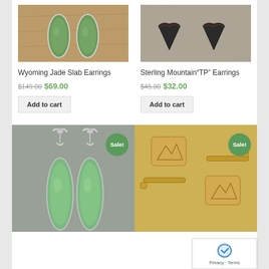[Figure (photo): Wyoming Jade Slab Earrings product photo - two elongated teardrop-shaped green jade earrings on wooden background]
[Figure (photo): Sterling Mountain 'TP' Earrings product photo - two dark triangular mountain-shaped earrings on grey background]
Wyoming Jade Slab Earrings
$149.00 $69.00
Add to cart
Sterling Mountain"TP" Earrings
$45.00 $32.00
Add to cart
[Figure (photo): Jade dangle earrings on grey background, Sale badge visible]
[Figure (photo): Gold cufflinks on golden background, Sale badge visible]
Privacy · Terms